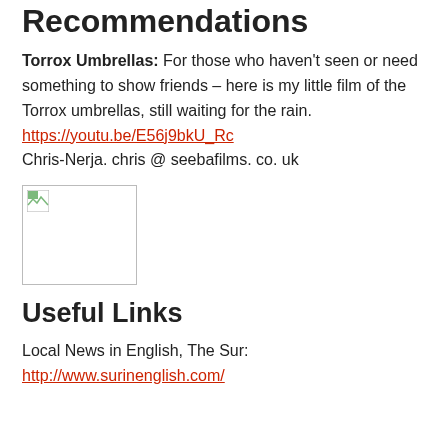Recommendations
Torrox Umbrellas: For those who haven't seen or need something to show friends – here is my little film of the Torrox umbrellas, still waiting for the rain. https://youtu.be/E56j9bkU_Rc
Chris-Nerja. chris @ seebafilms. co. uk
[Figure (photo): Broken/missing image placeholder icon inside a bordered box]
Useful Links
Local News in English, The Sur:
http://www.surinenglish.com/